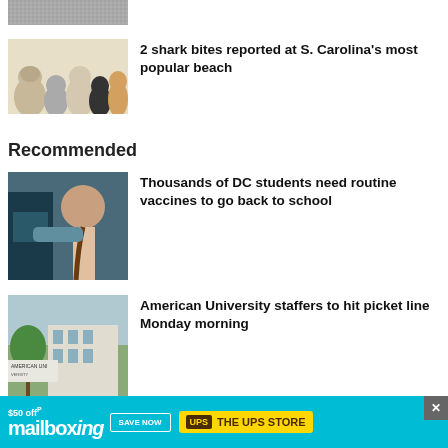[Figure (photo): Top cropped image, grainy texture]
[Figure (photo): Pets photo: bulldog, cat, spaniel, black cat, beagle]
2 shark bites reported at S. Carolina’s most popular beach
Recommended
[Figure (photo): Medical professional giving vaccine to child]
Thousands of DC students need routine vaccines to go back to school
[Figure (photo): American University sign with trees and building]
American University staffers to hit picket line Monday morning
[Figure (photo): Partial photo of building interior]
‘I’m going in’ — Montgomery Co.
[Figure (other): Ad banner: $50 off mailboxing, SAVE NOW, UPS THE UPS STORE]